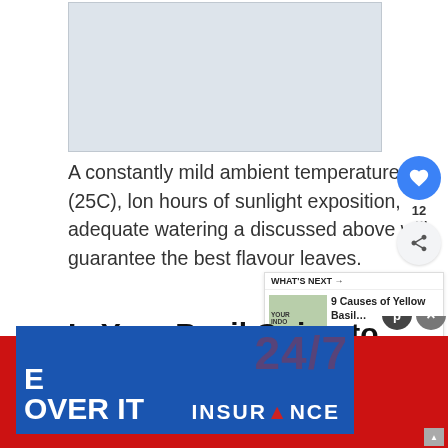[Figure (photo): Placeholder image area, light grey rectangle representing an article image]
A constantly mild ambient temperature (25C), long hours of sunlight exposition, adequate watering as discussed above will guarantee the best flavour leaves.
Is Your Basil Going to Ever Have
[Figure (advertisement): Banner advertisement with blue and red background showing '24/7 INSURANCE' text with white lettering and overlapping decorative text elements]